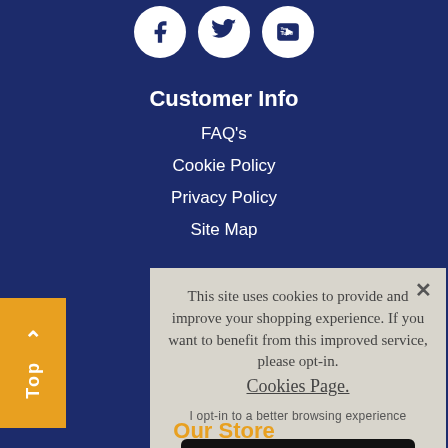[Figure (illustration): Three social media icons (Facebook, Twitter, YouTube) in white circles on dark blue background]
Customer Info
FAQ's
Cookie Policy
Privacy Policy
Site Map
This site uses cookies to provide and improve your shopping experience. If you want to benefit from this improved service, please opt-in. Cookies Page.
I opt-in to a better browsing experience
Accept Cookies
Our Store